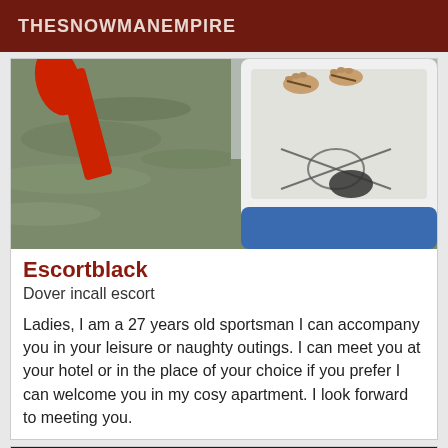THESNOWMANEMPIRE
[Figure (photo): Photo of a paddleboard on water with a red paddle on the left side and feet of a person standing on the board visible on the right side. The board is blue and white with a strap/bungee system.]
Escortblack
Dover incall escort
Ladies, I am a 27 years old sportsman I can accompany you in your leisure or naughty outings. I can meet you at your hotel or in the place of your choice if you prefer I can welcome you in my cosy apartment. I look forward to meeting you.
[Figure (photo): Dark/black background image with VIP badge label in dark red on the left side. Partial view of a person.]